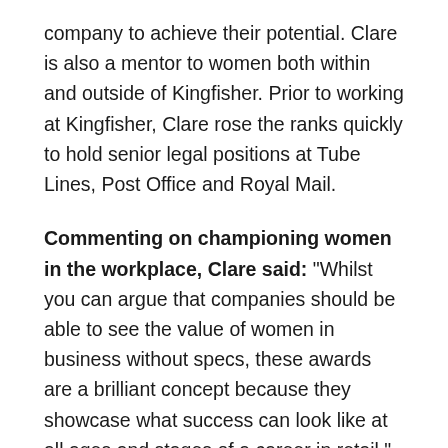company to achieve their potential. Clare is also a mentor to women both within and outside of Kingfisher. Prior to working at Kingfisher, Clare rose the ranks quickly to hold senior legal positions at Tube Lines, Post Office and Royal Mail.
Commenting on championing women in the workplace, Clare said: “Whilst you can argue that companies should be able to see the value of women in business without specs, these awards are a brilliant concept because they showcase what success can look like at all ages and stages of a career in retail.”
“It is important that everyone is encouraged to reach their full potential, and I am particularly passionate about helping women find ways to do that. It can be as simple